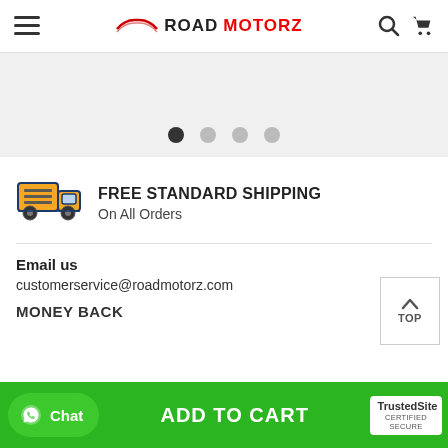ROAD MOTORZ
[Figure (screenshot): Carousel image area with 4 pagination dots, first dot active (dark)]
[Figure (illustration): Orange and blue delivery truck icon]
FREE STANDARD SHIPPING
On All Orders
Email us
customerservice@roadmotorz.com
MONEY BACK
ADD TO CART
Chat
TrustedSite CERTIFIED SECURE